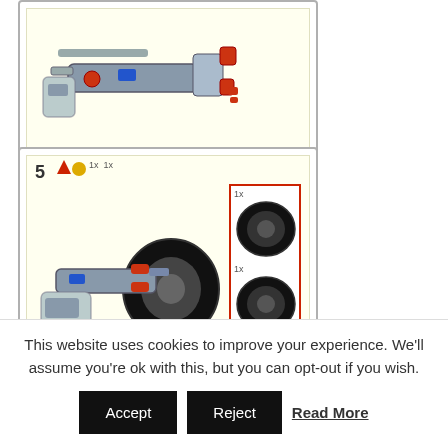[Figure (illustration): LEGO assembly instruction step showing a robotic arm/vehicle component built from LEGO pieces, inside a yellow-tinted box with a border]
[Figure (illustration): LEGO assembly instruction step 5 showing a vehicle/robot component with two tire pieces to attach (1x large tire shown in red-bordered inset, and 1x additional tire below). Parts badge shows red triangle and yellow circle icons with 1x 1x counts.]
[Figure (illustration): Partial view of step 2 LEGO instruction box showing only the step number '2']
This website uses cookies to improve your experience. We'll assume you're ok with this, but you can opt-out if you wish.
Accept  Reject  Read More